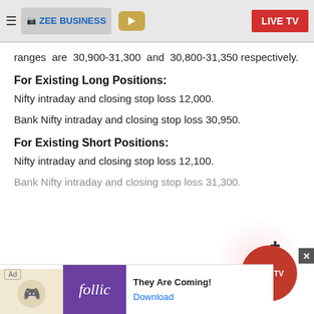ZEE BUSINESS | LIVE TV
ranges are 30,900-31,300 and 30,800-31,350 respectively.
For Existing Long Positions:
Nifty intraday and closing stop loss 12,000.
Bank Nifty intraday and closing stop loss 30,950.
For Existing Short Positions:
Nifty intraday and closing stop loss 12,100.
Bank Nifty intraday and closing stop loss 31,300.